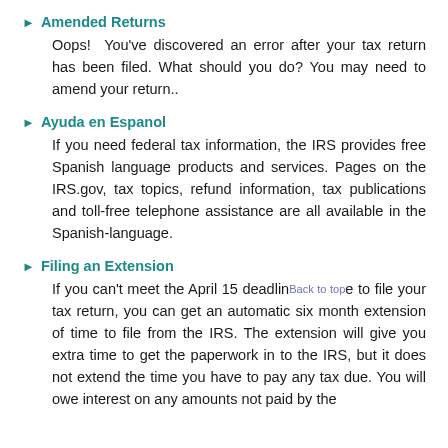▶ Amended Returns
Oops! You've discovered an error after your tax return has been filed. What should you do? You may need to amend your return..
▶ Ayuda en Espanol
If you need federal tax information, the IRS provides free Spanish language products and services. Pages on the IRS.gov, tax topics, refund information, tax publications and toll-free telephone assistance are all available in the Spanish-language.
▶ Filing an Extension
If you can't meet the April 15 deadline to file your tax return, you can get an automatic six month extension of time to file from the IRS. The extension will give you extra time to get the paperwork in to the IRS, but it does not extend the time you have to pay any tax due. You will owe interest on any amounts not paid by the